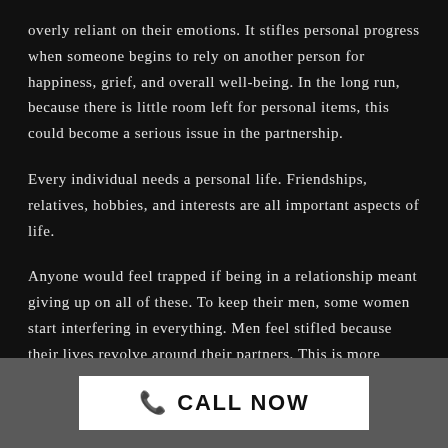overly reliant on their emotions. It stifles personal progress when someone begins to rely on another person for happiness, grief, and overall well-being. In the long run, because there is little room left for personal items, this could become a serious issue in the partnership.
Every individual needs a personal life. Friendships, relatives, hobbies, and interests are all important aspects of life.
Anyone would feel trapped if being in a relationship meant giving up on all of these. To keep their men, some women start interfering in everything. Men feel stifled because their lives revolve around their partners. This is more common among guys who value their independence. As a
CALL NOW